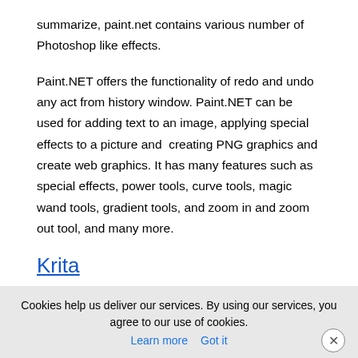summarize, paint.net contains various number of Photoshop like effects.
Paint.NET offers the functionality of redo and undo any act from history window. Paint.NET can be used for adding text to an image, applying special effects to a picture and  creating PNG graphics and create web graphics. It has many features such as special effects, power tools, curve tools, magic wand tools, gradient tools, and zoom in and zoom out tool, and many more.
Krita
Krita is a raster graphics editor based on Qt 5 and the KDE Frameworks 5 developed by KDE. It is a free and open source program. It is developed to give people affordable art tools. The main use of Krita is to work as a digital painting application and is similar to its contemporaries like Corel painter and SAI to some extent.
Cookies help us deliver our services. By using our services, you agree to our use of cookies. Learn more  Got it